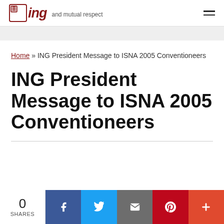ING and mutual respect
Home » ING President Message to ISNA 2005 Conventioneers
ING President Message to ISNA 2005 Conventioneers
0 SHARES